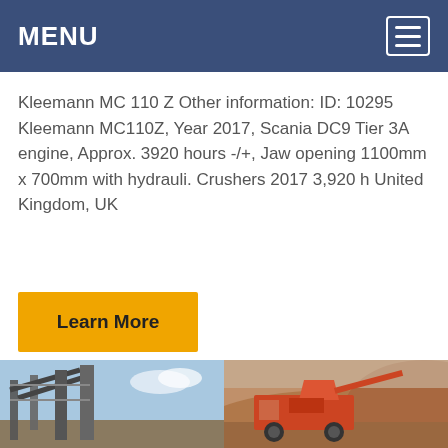MENU
Kleemann MC 110 Z Other information: ID: 10295 Kleemann MC110Z, Year 2017, Scania DC9 Tier 3A engine, Approx. 3920 hours -/+, Jaw opening 1100mm x 700mm with hydrauli. Crushers 2017 3,920 h United Kingdom, UK
Learn More
[Figure (photo): Industrial conveyor/crushing equipment against blue sky (left); Mobile crushing plant on rocky terrain (right)]